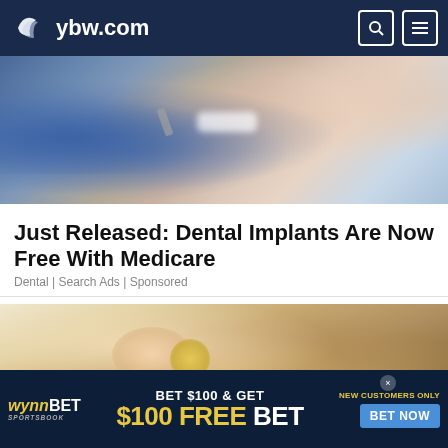ybw.com
[Figure (photo): Close-up of dentist in blue gloves placing a dental veneer on a smiling woman's teeth]
Just Released: Dental Implants Are Now Free With Medicare
Dental | Search Ads | Sponsored
[Figure (illustration): Illustration of hands applying a yellow coin or cap to dark hair]
[Figure (infographic): WynnBET Sportsbook ad banner: BET $100 & GET $100 FREE BET — NEW CUSTOMERS ONLY — BET NOW]